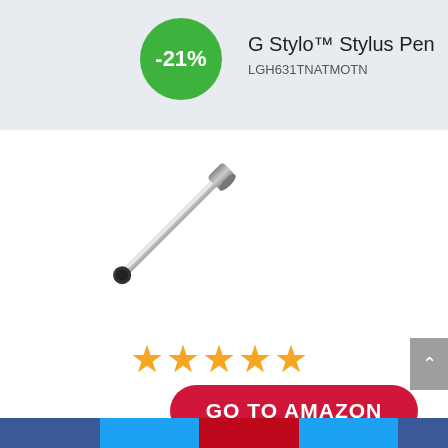-21%
G Stylo™ Stylus Pen
LGH631TNATMOTN
[Figure (photo): A silver metallic stylus pen oriented diagonally from upper-right to lower-left, with a black rubber tip at the lower-left and a chrome cap at the upper-right.]
★★★★★
GO TO AMAZON
Amazon.com